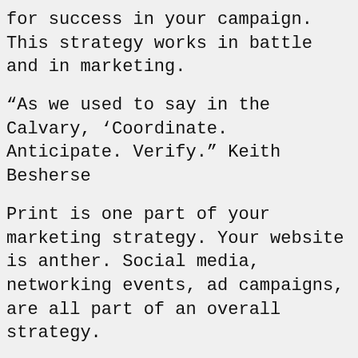for success in your campaign. This strategy works in battle and in marketing.
“As we used to say in the Calvary, ‘Coordinate. Anticipate. Verify.” Keith Besherse
Print is one part of your marketing strategy. Your website is anther. Social media, networking events, ad campaigns, are all part of an overall strategy.
Who is your audience? What is the message? Is it valuable to them? These are the questions you need to ask yourself before